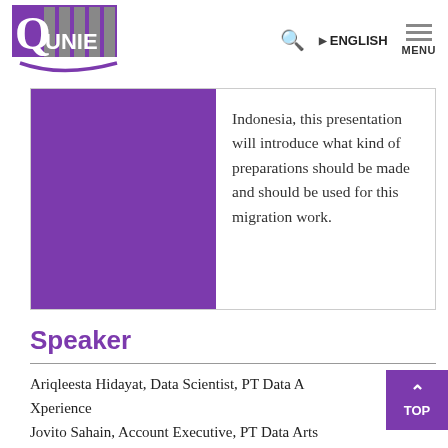[Figure (logo): Quunie/Qunie logo with purple and grey vertical bars and a purple swoosh underline]
Indonesia, this presentation will introduce what kind of preparations should be made and should be used for this migration work.
Speaker
Ariqleesta Hidayat, Data Scientist, PT Data Arts Xperience
Jovito Sahain, Account Executive, PT Data Arts Xperience